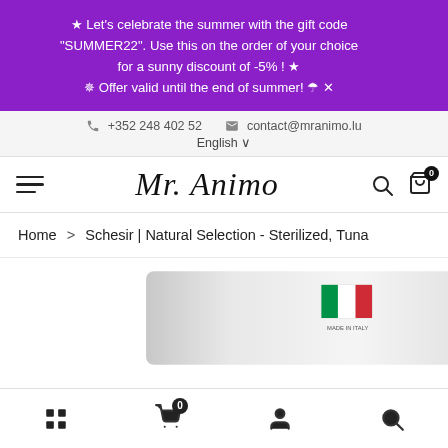★ Let's celebrate the summer with the gift code "SUMMER22". Use this on the order of your choice for a sunny discount of -5% ! ★
✵ Offer valid until the end of summer! ☂
+352 248 402 52   contact@mranimo.lu   English
[Figure (logo): Mr. Animo cursive script logo with hamburger menu, search icon, and cart icon with 0 badge]
Home > Schesir | Natural Selection - Sterilized, Tuna
[Figure (photo): Partial view of a Schesir Natural Selection - Sterilized Tuna cat food product with Italian flag badge and 'Made in Italy' text]
Grid view | Cart (0) | Account | Search